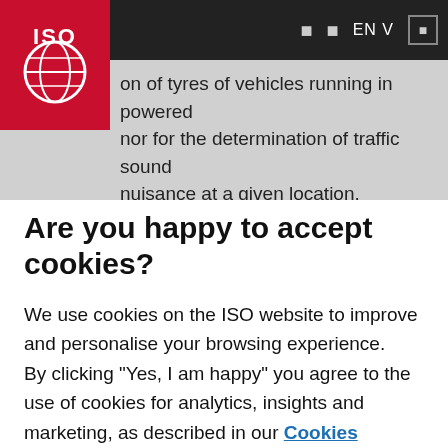[Figure (logo): ISO globe logo — white globe on dark red/crimson square background with white 'ISO' text]
on of tyres of vehicles running in powered nor for the determination of traffic sound nuisance at a given location.
Are you happy to accept cookies?
We use cookies on the ISO website to improve and personalise your browsing experience.
By clicking "Yes, I am happy" you agree to the use of cookies for analytics, insights and marketing, as described in our Cookies Policy. To reject cookies or manage your cookie preferences click "Manage my cookies"